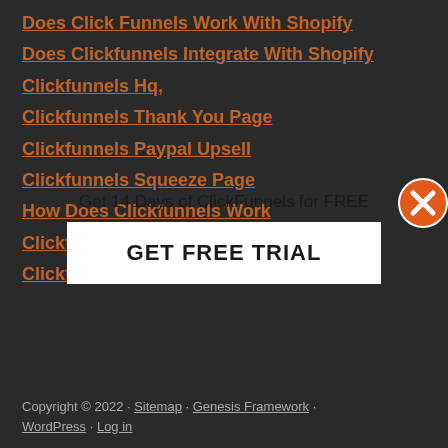Does Click Funnels Work With Shopify
Does Clickfunnels Integrate With Shopify
Clickfunnels Hq,
Clickfunnels Thank You Page
Clickfunnels Paypal Upsell
Clickfunnels Squeeze Page
How Does Clickfunnels Work
Clickfunnel Actionetics
Clickfunnels
Get 14 Days of ClickFunnels for FREE
GET FREE TRIAL
[Figure (other): Orange circle with X close button]
Copyright © 2022 · Sitemap · Genesis Framework · WordPress · Log in